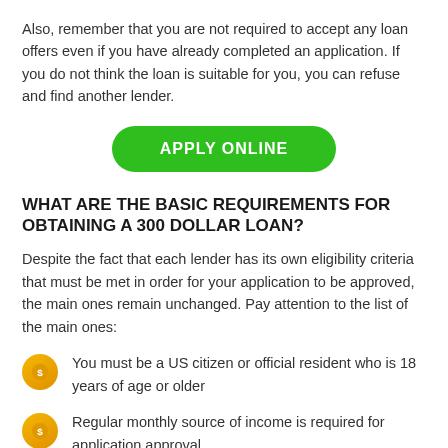Also, remember that you are not required to accept any loan offers even if you have already completed an application. If you do not think the loan is suitable for you, you can refuse and find another lender.
[Figure (other): Green rounded button with white uppercase text 'APPLY ONLINE']
WHAT ARE THE BASIC REQUIREMENTS FOR OBTAINING A 300 DOLLAR LOAN?
Despite the fact that each lender has its own eligibility criteria that must be met in order for your application to be approved, the main ones remain unchanged. Pay attention to the list of the main ones:
You must be a US citizen or official resident who is 18 years of age or older
Regular monthly source of income is required for application approval